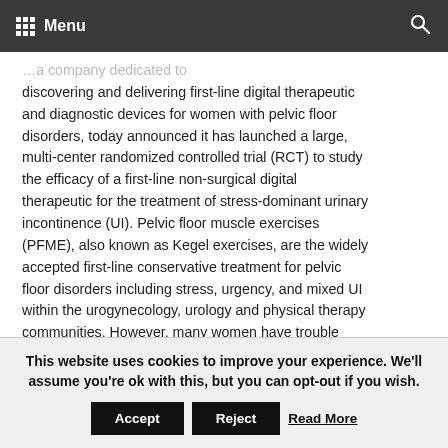Menu
…a company dedicated to discovering and delivering first-line digital therapeutic and diagnostic devices for women with pelvic floor disorders, today announced it has launched a large, multi-center randomized controlled trial (RCT) to study the efficacy of a first-line non-surgical digital therapeutic for the treatment of stress-dominant urinary incontinence (UI). Pelvic floor muscle exercises (PFME), also known as Kegel exercises, are the widely accepted first-line conservative treatment for pelvic floor disorders including stress, urgency, and mixed UI within the urogynecology, urology and physical therapy communities. However, many women have trouble identifying and contracting the correct muscles when performing these exercises, and remembering to
This website uses cookies to improve your experience. We'll assume you're ok with this, but you can opt-out if you wish. Accept Reject Read More